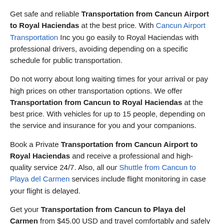Get safe and reliable Transportation from Cancun Airport to Royal Haciendas at the best price. With Cancun Airport Transportation Inc you go easily to Royal Haciendas with professional drivers, avoiding depending on a specific schedule for public transportation.
Do not worry about long waiting times for your arrival or pay high prices on other transportation options. We offer Transportation from Cancun to Royal Haciendas at the best price. With vehicles for up to 15 people, depending on the service and insurance for you and your companions.
Book a Private Transportation from Cancun Airport to Royal Haciendas and receive a professional and high-quality service 24/7. Also, all our Shuttle from Cancun to Playa del Carmen services include flight monitoring in case your flight is delayed.
Get your Transportation from Cancun to Playa del Carmen from $45.00 USD and travel comfortably and safely to the main hotels.
Private Transfers from Cancun Airport